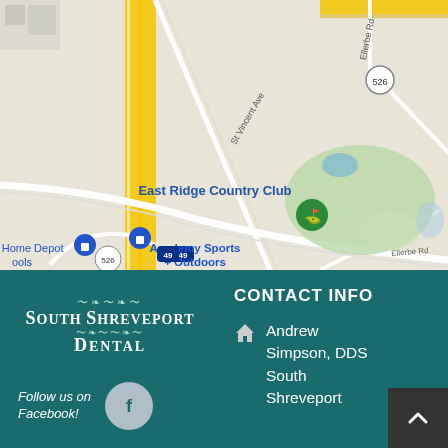[Figure (map): Google Maps view showing East Ridge Country Club, Academy Sports + Outdoors, The Home Depot, I-49 highway, route 526, route 3132, Ellerbe Rd, St Vincent Ave, and surrounding area in Shreveport, Louisiana.]
[Figure (logo): South Shreveport Dental logo with ornamental swirls in white on teal background]
Follow us on Facebook!
CONTACT INFO
Andrew Simpson, DDS South Shreveport